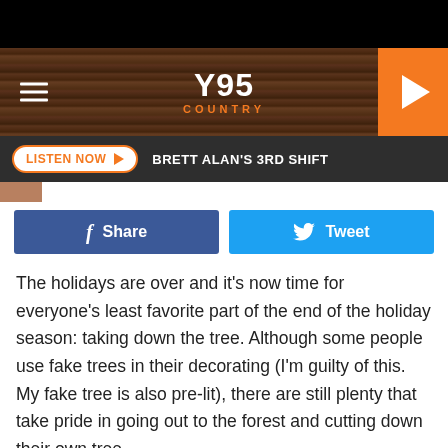[Figure (screenshot): Y95 Country radio website header with wood texture background, hamburger menu on left, Y95 COUNTRY logo in center, orange play button on right]
[Figure (screenshot): Dark navigation bar with white outlined LISTEN NOW button with orange text and play arrow, followed by BRETT ALAN'S 3RD SHIFT text in white]
[Figure (screenshot): Social sharing buttons: blue Facebook Share button and light blue Twitter Tweet button]
The holidays are over and it's now time for everyone's least favorite part of the end of the holiday season: taking down the tree. Although some people use fake trees in their decorating (I'm guilty of this. My fake tree is also pre-lit), there are still plenty that take pride in going out to the forest and cutting down their own tree.
While those natural trees smell great, chances are that the one you've chopped down is now dried out, brittle and